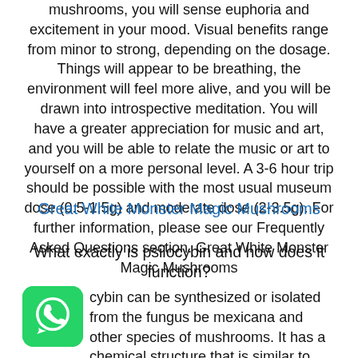mushrooms, you will sense euphoria and excitement in your mood. Visual benefits range from minor to strong, depending on the dosage. Things will appear to be breathing, the environment will feel more alive, and you will be drawn into introspective meditation. You will have a greater appreciation for music and art, and you will be able to relate the music or art to yourself on a more personal level. A 3-6 hour trip should be possible with the most usual museum dose (0.5-1.5g) and moderate dose (2-3.5g). For further information, please see our Frequently Asked Questions section. Great White Monster Magic Mushrooms
Great White Monster Magic Mushrooms
What exactly is psilocybin and how does it function?
[Figure (logo): WhatsApp logo icon — green rounded square with white phone handset in speech bubble]
cybin can be synthesized or isolated from the fungus be mexicana and other species of mushrooms. It has a chemical structure that is similar to LSD. The drug is most